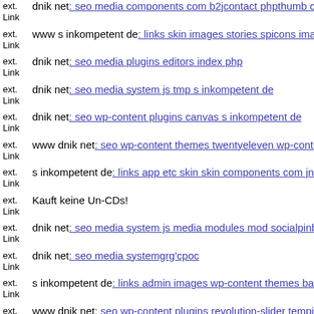ext. Link dnik net: seo media components com b2jcontact phpthumb con...
ext. Link www s inkompetent de: links skin images stories spicons image...
ext. Link dnik net: seo media plugins editors index php
ext. Link dnik net: seo media system js tmp s inkompetent de
ext. Link dnik net: seo wp-content plugins canvas s inkompetent de
ext. Link www dnik net: seo wp-content themes twentyeleven wp-conten...
ext. Link s inkompetent de: links app etc skin skin components com jnew...
ext. Link Kauft keine Un-CDs!
ext. Link dnik net: seo media system js media modules mod socialpinboa...
ext. Link dnik net: seo media systemgrg'cpoc
ext. Link s inkompetent de: links admin images wp-content themes basic...
ext. Link www dnik net: seo wp-content plugins revolution-slider tempjz...